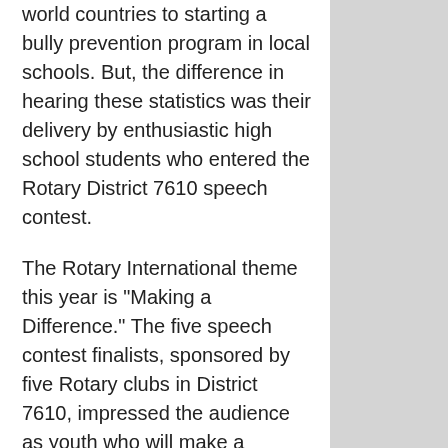world countries to starting a bully prevention program in local schools. But, the difference in hearing these statistics was their delivery by enthusiastic high school students who entered the Rotary District 7610 speech contest.
The Rotary International theme this year is "Making a Difference." The five speech contest finalists, sponsored by five Rotary clubs in District 7610, impressed the audience as youth who will make a difference in the world. They spoke about what Rotary meant to them, after they learned about the many clubs and their service projects.
Liam McPherson, a junior at Fairfax High School, sponsored by the Fairfax Rotary Club, placed first in the contest. As first place winner, he won a cash prize. His speech took the broader view of how nations can make a difference in the world by improving the quality of life for their citizens. When he spoke about Rotary, he referenced his mother, who received